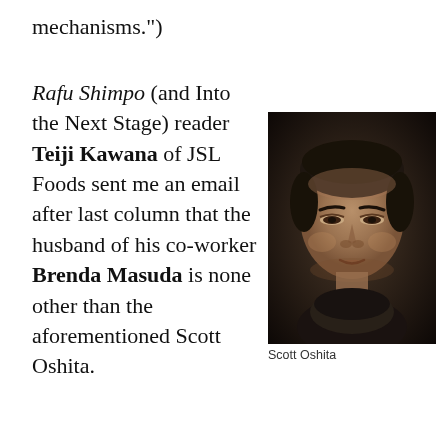mechanisms.")
Rafu Shimpo (and Into the Next Stage) reader Teiji Kawana of JSL Foods sent me an email after last column that the husband of his co-worker Brenda Masuda is none other than the aforementioned Scott Oshita.
[Figure (photo): Black and white portrait photo of a middle-aged Asian man with short dark hair, wearing a dark shirt, looking slightly to the side with a faint smile.]
Scott Oshita